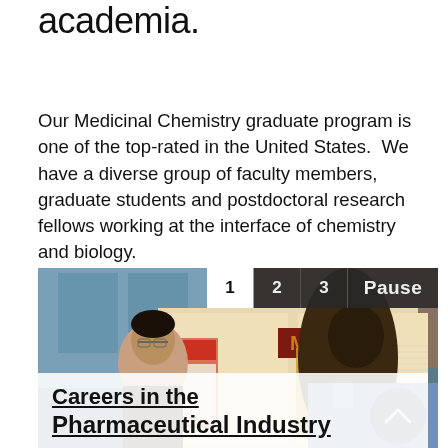academia.
Our Medicinal Chemistry graduate program is one of the top-rated in the United States.  We have a diverse group of faculty members, graduate students and postdoctoral research fellows working at the interface of chemistry and biology.
[Figure (photo): Two researchers, one South Asian male and one Black male, standing at a research poster session inside a modern building. A University of Minnesota 'M' logo is visible on one poster. Navigation controls (1, 2, 3, Pause) are overlaid at the top right of the photo. A caption overlay at the bottom reads 'Careers in the Pharmaceutical Industry'.]